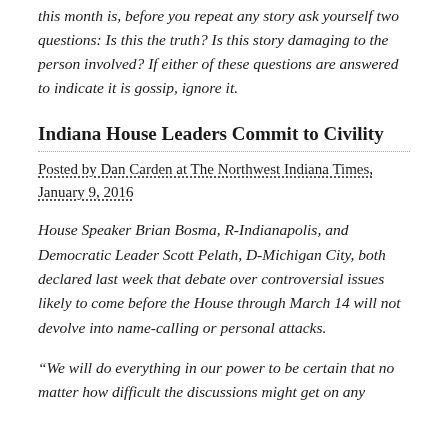this month is, before you repeat any story ask yourself two questions: Is this the truth? Is this story damaging to the person involved? If either of these questions are answered to indicate it is gossip, ignore it.
Indiana House Leaders Commit to Civility
Posted by Dan Carden at The Northwest Indiana Times, January 9, 2016
House Speaker Brian Bosma, R-Indianapolis, and Democratic Leader Scott Pelath, D-Michigan City, both declared last week that debate over controversial issues likely to come before the House through March 14 will not devolve into name-calling or personal attacks.
“We will do everything in our power to be certain that no matter how difficult the discussions might get on any